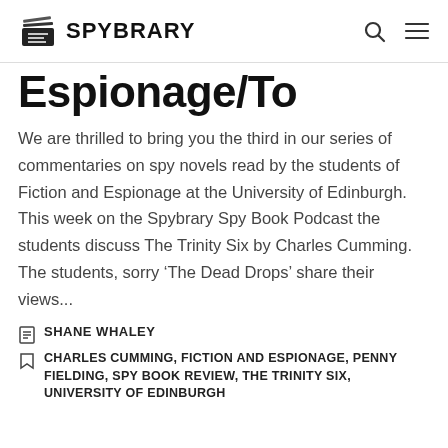SPYBRARY
Espionage/To
We are thrilled to bring you the third in our series of commentaries on spy novels read by the students of Fiction and Espionage at the University of Edinburgh. This week on the Spybrary Spy Book Podcast the students discuss The Trinity Six by Charles Cumming. The students, sorry ‘The Dead Drops’ share their views...
SHANE WHALEY
CHARLES CUMMING, FICTION AND ESPIONAGE, PENNY FIELDING, SPY BOOK REVIEW, THE TRINITY SIX, UNIVERSITY OF EDINBURGH